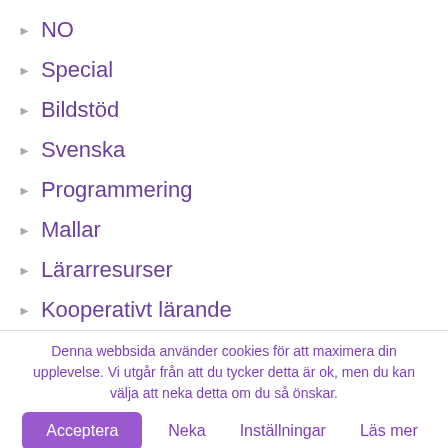NO
Special
Bildstöd
Svenska
Programmering
Mallar
Lärarresurser
Kooperativt lärande
Denna webbsida använder cookies för att maximera din upplevelse. Vi utgår från att du tycker detta är ok, men du kan välja att neka detta om du så önskar.
Acceptera | Neka | Inställningar | Läs mer